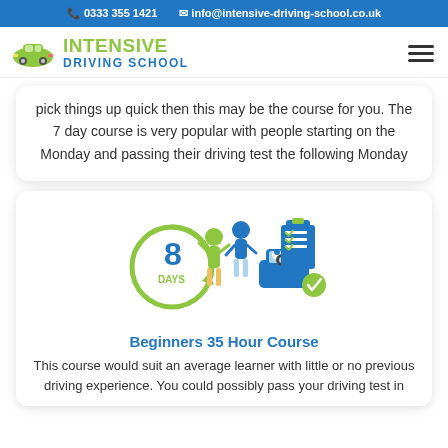0333 355 1421   info@intensive-driving-school.co.uk
[Figure (logo): Intensive Driving School logo with green car icon, green 'INTENSIVE' text and blue 'DRIVING SCHOOL' text]
pick things up quick then this may be the course for you. The 7 day course is very popular with people starting on the Monday and passing their driving test the following Monday
[Figure (illustration): 8 DAYS circular badge with green arrow, people celebrating, a blue car with a driver, and a clipboard with checkmarks and a green tick badge]
Beginners 35 Hour Course
This course would suit an average learner with little or no previous driving experience. You could possibly pass your driving test in